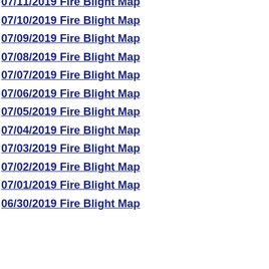07/11/2019 Fire Blight Map
07/10/2019 Fire Blight Map
07/09/2019 Fire Blight Map
07/08/2019 Fire Blight Map
07/07/2019 Fire Blight Map
07/06/2019 Fire Blight Map
07/05/2019 Fire Blight Map
07/04/2019 Fire Blight Map
07/03/2019 Fire Blight Map
07/02/2019 Fire Blight Map
07/01/2019 Fire Blight Map
06/30/2019 Fire Blight Map